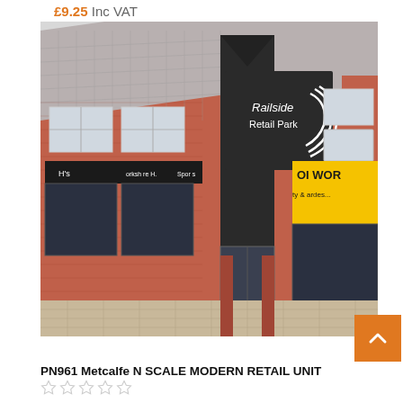£9.25 Inc VAT
[Figure (photo): Metcalfe N Scale Modern Retail Unit model building showing a brick-built retail park with 'Railside Retail Park' signage, shop fronts, tiled roof, and paved forecourt]
PN961 Metcalfe N SCALE MODERN RETAIL UNIT
[Figure (other): 5-star rating widget showing empty/outline stars]